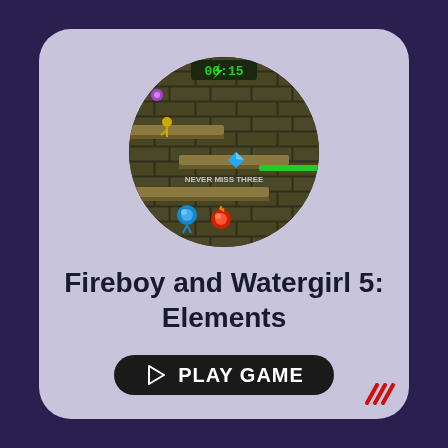[Figure (screenshot): Circular cropped screenshot of Fireboy and Watergirl 5: Elements game showing top-down view of a dungeon level with brick floors, platforms, blue and red character gems, timer showing 00:15, and text NEVER MISS THREE]
Fireboy and Watergirl 5: Elements
[Figure (other): Play Game button - dark rounded rectangle with play triangle icon and PLAY GAME text]
[Figure (logo): Small logo mark in bottom right corner with red double-check slash marks]